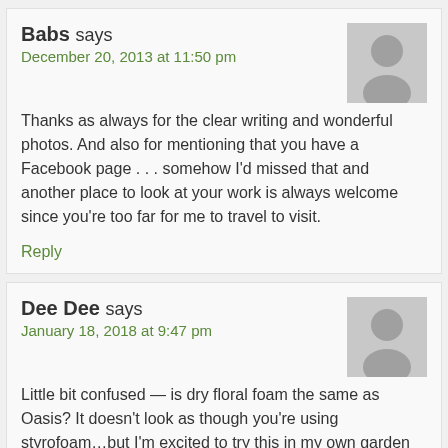Babs says
December 20, 2013 at 11:50 pm
Thanks as always for the clear writing and wonderful photos. And also for mentioning that you have a Facebook page . . . somehow I'd missed that and another place to look at your work is always welcome since you're too far for me to travel to visit.
Reply
Dee Dee says
January 18, 2018 at 9:47 pm
Little bit confused — is dry floral foam the same as Oasis? It doesn't look as though you're using styrofoam…but I'm excited to try this in my own garden and want to avoid an early blunder (not to be confused with a likely later one).
The containers are absolutely gorgeous!